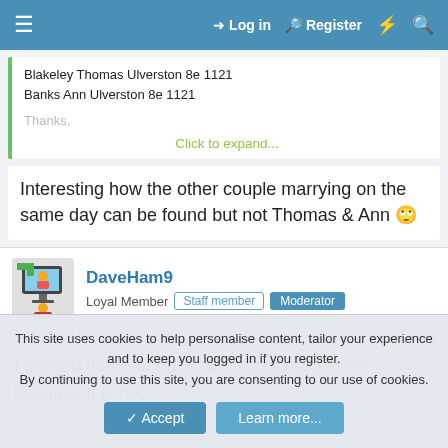≡  Log in  Register  ⚡  🔍
Blakeley Thomas Ulverston 8e 1121
Banks Ann Ulverston 8e 1121

Thanks,

Click to expand...
Interesting how the other couple marrying on the same day can be found but not Thomas & Ann 🙄
DaveHam9
Loyal Member  Staff member  Moderator
16 April 2014  #3
I missed that one but it was suggested to me because it is not
This site uses cookies to help personalise content, tailor your experience and to keep you logged in if you register.
By continuing to use this site, you are consenting to our use of cookies.
Accept  Learn more...